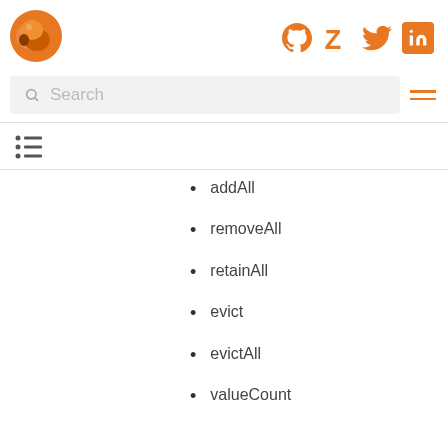[Figure (logo): Orange fox/bird logo circle]
[Figure (logo): Social media icons: GitHub, Zotero, Twitter, LinkedIn in orange]
Search
[Figure (other): Hamburger menu icon (three horizontal orange lines)]
[Figure (other): List/table of contents icon]
addAll
removeAll
retainAll
evict
evictAll
valueCount